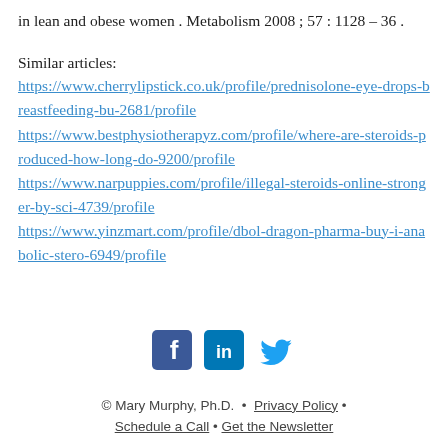in lean and obese women . Metabolism 2008 ; 57 : 1128 – 36 .
Similar articles:
https://www.cherrylipstick.co.uk/profile/prednisolone-eye-drops-breastfeeding-bu-2681/profile
https://www.bestphysiotherapyz.com/profile/where-are-steroids-produced-how-long-do-9200/profile
https://www.narpuppies.com/profile/illegal-steroids-online-stronger-by-sci-4739/profile
https://www.yinzmart.com/profile/dbol-dragon-pharma-buy-i-anabolic-stero-6949/profile
[Figure (other): Social media icons: Facebook, LinkedIn, Twitter]
© Mary Murphy, Ph.D.  •  Privacy Policy  •  Schedule a Call  •  Get the Newsletter